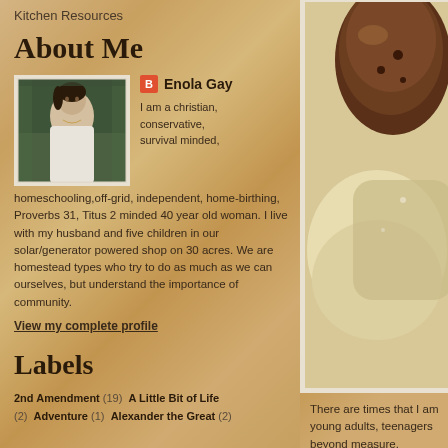Kitchen Resources
About Me
[Figure (photo): Profile photo of a woman with dark hair]
Enola Gay
I am a christian, conservative, survival minded, homeschooling,off-grid, independent, home-birthing, Proverbs 31, Titus 2 minded 40 year old woman. I live with my husband and five children in our solar/generator powered shop on 30 acres. We are homestead types who try to do as much as we can ourselves, but understand the importance of community.
View my complete profile
Labels
2nd Amendment (19)  A Little Bit of Life (2)  Adventure (1)  Alexander the Great (2)
[Figure (photo): Close-up food photo showing baked goods with cream or sauce]
There are times that I am young adults, teenagers beyond measure.
Every evening, we gathe